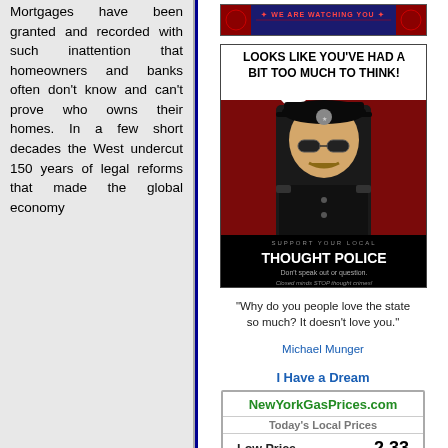Mortgages have been granted and recorded with such inattention that homeowners and banks often don't know and can't prove who owns their homes. In a few short decades the West undercut 150 years of legal reforms that made the global economy
[Figure (photo): Top banner image with red decorative elements and text 'WE ARE WATCHING YOU']
[Figure (photo): Propaganda-style poster showing a police officer in black uniform with sunglasses. Text reads 'LOOKS LIKE YOU'VE HAD A BIT TOO MUCH TO THINK!' at top and 'SUPPORT YOUR LOCAL THOUGHT POLICE Don't speak out or question. Closed minds STOP thought crimes!' at bottom]
"Why do you people love the state so much? It doesn't love you."
Michael Munger
I Have a Dream
| NewYorkGasPrices.com |
| --- |
| Today's Local Prices |
| Low Price | 2.33 |
| High Price | 3.39 |